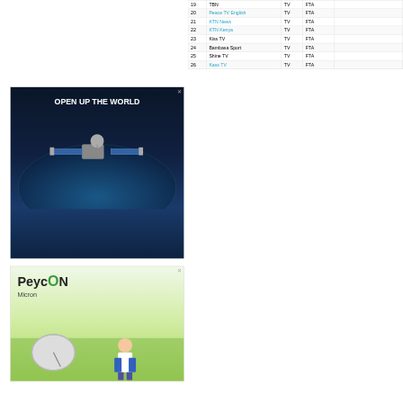[Figure (photo): Advertisement: satellite in space with text 'OPEN UP THE WORLD' on dark blue background]
[Figure (photo): Advertisement: PeycON Micron brand with satellite dish and person on green grass background]
|  | Channel | T | Encryption | Pack |
| --- | --- | --- | --- | --- |
| 19 | TBN | TV | FTA |  |
| 20 | Peace TV English | TV | FTA |  |
| 21 | KTN News | TV | FTA |  |
| 22 | KTN Kenya | TV | FTA |  |
| 23 | Kiss TV | TV | FTA |  |
| 24 | Bambasa Sport | TV | FTA |  |
| 25 | Shine TV | TV | FTA |  |
| 26 | Kass TV | TV | FTA |  |
|  |  | Channel | T | Encryption | Pack |
| --- | --- | --- | --- | --- | --- |
|  | 27 | Sanjyra | TV | FTA |  |
|  | 28 | Ilim Bilim | TV | FTA |  |
|  | 29 | 5 Kanal Kyrgyzstan | TV | FTA |  |
|  | 30 | Ala-Too 24 | TV | FTA |  |
|  | 31 | Piramida | TV | FTA |  |
|  | 32 | Mir (+3h) | TV | FTA |  |
|  | 33 | KTRK | TV | FTA |  |
|  | 34 | Madaniyat | TV | FTA |  |
|  | 35 | Muzika | TV | FTA |  |